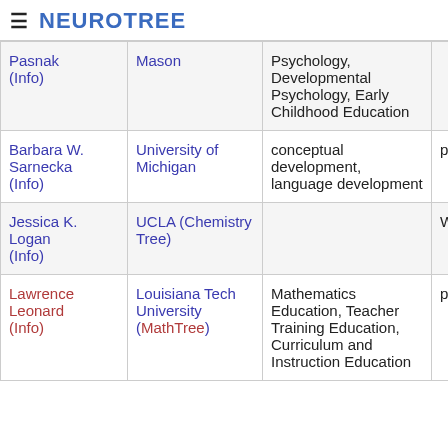≡ NEUROTREE
| Name | Institution | Field |  |
| --- | --- | --- | --- |
| Pasnak (Info) | Mason | Psychology, Developmental Psychology, Early Childhood Education |  |
| Barbara W. Sarnecka (Info) | University of Michigan | conceptual development, language development | pq |
| Jessica K. Logan (Info) | UCLA (Chemistry Tree) |  | WildcatChemist |
| Lawrence Leonard (Info) | Louisiana Tech University (MathTree) | Mathematics Education, Teacher Training Education, Curriculum and Instruction Education | pq |